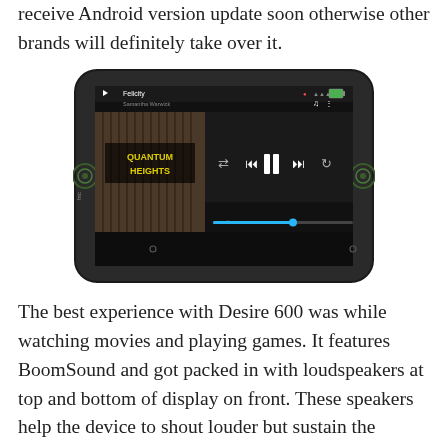receive Android version update soon otherwise other brands will definitely take over it.
[Figure (photo): HTC Desire 600 smartphone displaying a music player app playing 'Felicity' by Samantha Warwick, with album art showing 'Quantum Heights', playback controls, and a progress bar. The phone features BoomSound speakers visible on each side.]
The best experience with Desire 600 was while watching movies and playing games. It features BoomSound and got packed in with loudspeakers at top and bottom of display on front. These speakers help the device to shout louder but sustain the quality.